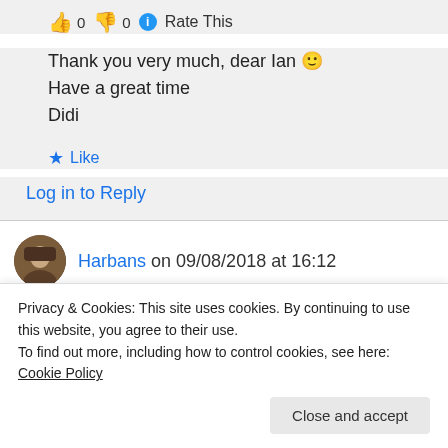👍 0 👎 0 ℹ Rate This
Thank you very much, dear Ian 🙂
Have a great time
Didi
★ Like
Log in to Reply
Harbans on 09/08/2018 at 16:12
Privacy & Cookies: This site uses cookies. By continuing to use this website, you agree to their use.
To find out more, including how to control cookies, see here: Cookie Policy
Close and accept